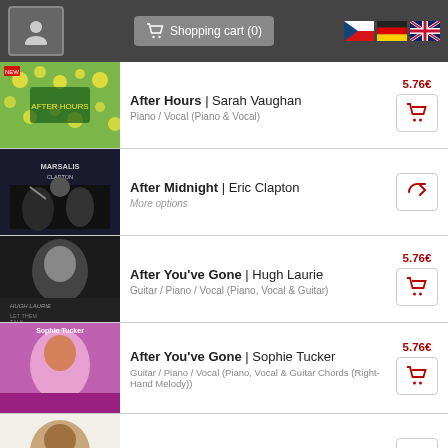Shopping cart (0)
After Hours | Sarah Vaughan — Piano / Vocal (Piano & Vocal) — 5.76€
After Midnight | Eric Clapton — More options
After You've Gone | Hugh Laurie — Guitar / Piano / Vocal (Piano, Vocal & Guitar) — 5.76€
After You've Gone | Sophie Tucker — Guitar / Piano / Vocal (Piano, Vocal & Guitar Chords (Right-Hand Melody)) — 5.76€
Ain't Misbehavin' | Fats Waller — More options
Ain't Misbehavin' (from The Daily Ukulele) (arr. Li…